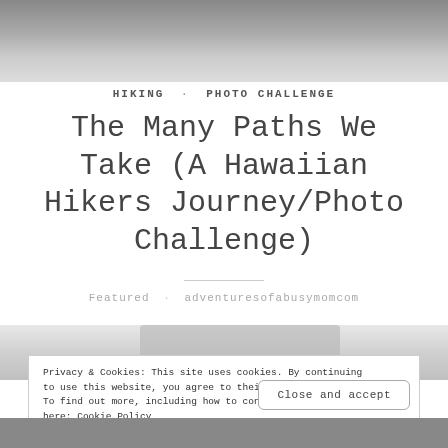[Figure (photo): Black and white photo of a person near water/rocks, cropped at top]
HIKING · PHOTO CHALLENGE
The Many Paths We Take (A Hawaiian Hikers Journey/Photo Challenge)
Featured · adventuresofabusymomcom
[Figure (photo): Partial photo visible behind cookie banner]
Privacy & Cookies: This site uses cookies. By continuing to use this website, you agree to their use. To find out more, including how to control cookies, see here: Cookie Policy
Close and accept
[Figure (photo): Bottom strip of a photo visible at bottom edge]